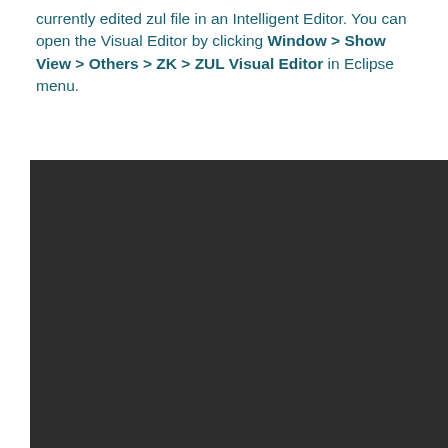currently edited zul file in an Intelligent Editor. You can open the Visual Editor by clicking Window > Show View > Others > ZK > ZUL Visual Editor in Eclipse menu.
[Figure (screenshot): A dark-themed screenshot area showing a ZK ZUL Visual Editor interface in Eclipse, appearing mostly as a dark/black panel.]